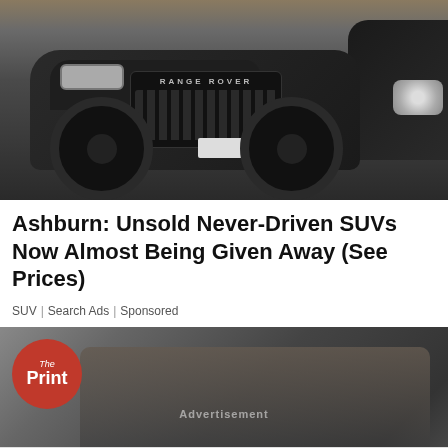[Figure (photo): A dusty black Range Rover SUV parked next to a black car, front view showing grille with RANGE ROVER badge]
Ashburn: Unsold Never-Driven SUVs Now Almost Being Given Away (See Prices)
SUV | Search Ads | Sponsored
[Figure (photo): Advertisement showing The Print logo (red circle with 'The Print' text) overlaid on a gym scene with an elderly man. Bottom bar shows: Ashburn OPEN 7:30AM-6PM, 43781 Parkhurst Plaza, Ashburn, with navigation arrow.]